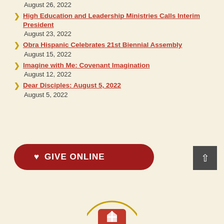August 26, 2022
High Education and Leadership Ministries Calls Interim President
August 23, 2022
Obra Hispanic Celebrates 21st Biennial Assembly
August 15, 2022
Imagine with Me: Covenant Imagination
August 12, 2022
Dear Disciples: August 5, 2022
August 5, 2022
[Figure (other): Give Online button with heart icon, dark red rounded rectangle]
[Figure (other): Scroll to top arrow button, dark gray square]
[Figure (logo): Organization logo circle with red shield/cross emblem, partially visible at bottom]